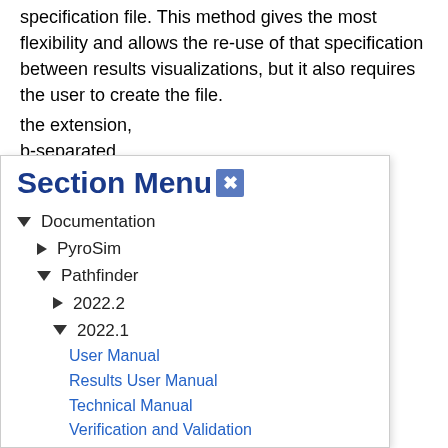specification file. This method gives the most flexibility and allows the re-use of that specification between results visualizations, but it also requires the user to create the file.
the extension, tab-separated t file, meaning that editor, such as format of the file is
ume2
 ume3 viewname4
rent playback time, the first column. ecifies the name of
Section Menu
▼ Documentation
▶ PyroSim
▼ Pathfinder
▶ 2022.2
▼ 2022.1
User Manual
Results User Manual
Technical Manual
Verification and Validation
Monte Carlo User Manual
Scripting API Manual
Software QA Plan
▶ 2021.4